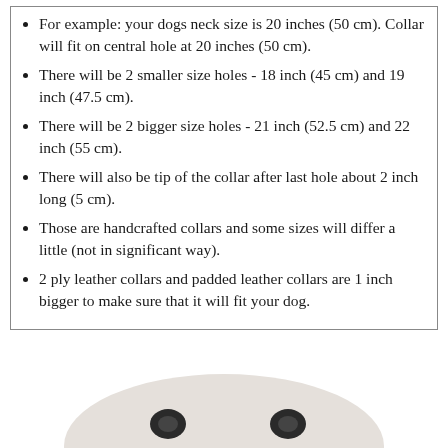For example: your dogs neck size is 20 inches (50 cm). Collar will fit on central hole at 20 inches (50 cm).
There will be 2 smaller size holes - 18 inch (45 cm) and 19 inch (47.5 cm).
There will be 2 bigger size holes - 21 inch (52.5 cm) and 22 inch (55 cm).
There will also be tip of the collar after last hole about 2 inch long (5 cm).
Those are handcrafted collars and some sizes will differ a little (not in significant way).
2 ply leather collars and padded leather collars are 1 inch bigger to make sure that it will fit your dog.
Click on the pictures to see bigger image
[Figure (photo): Partial photo of a dog collar product shown on a light beige/cream oval background, with two dark metal hardware pieces (buckles or rings) visible]